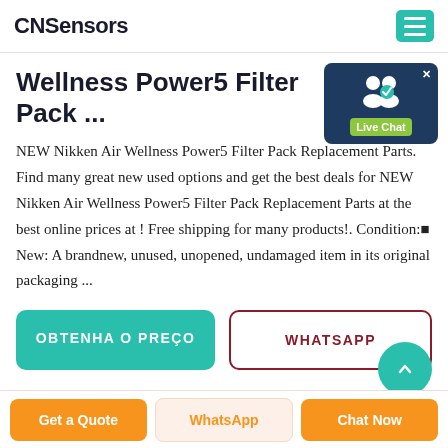CNSensors
Wellness Power5 Filter Pack ...
[Figure (other): Live Chat widget showing two user silhouette icons with a blue background and green 'Live Chat' label badge, with an X close button]
NEW Nikken Air Wellness Power5 Filter Pack Replacement Parts. Find many great new used options and get the best deals for NEW Nikken Air Wellness Power5 Filter Pack Replacement Parts at the best online prices at ! Free shipping for many products!. Condition:￼ New: A brandnew, unused, unopened, undamaged item in its original packaging ...
OBTENHA O PREÇO
WHATSAPP
Get a Quote | WhatsApp | Chat Now